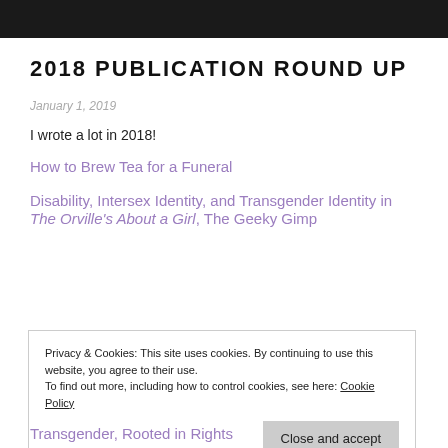[Figure (photo): Dark header banner image, partially visible at top]
2018 PUBLICATION ROUND UP
January 1, 2019
I wrote a lot in 2018!
How to Brew Tea for a Funeral
Disability, Intersex Identity, and Transgender Identity in The Orville's About a Girl, The Geeky Gimp
Privacy & Cookies: This site uses cookies. By continuing to use this website, you agree to their use.
To find out more, including how to control cookies, see here: Cookie Policy
Close and accept
Transgender, Rooted in Rights